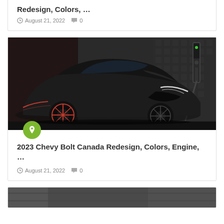Redesign, Colors, …
August 21, 2022  0
[Figure (photo): Black Chevy Bolt EV SUV shown in a dark studio setting with an EV charging station in the background]
2023 Chevy Bolt Canada Redesign, Colors, Engine, …
August 21, 2022  0
[Figure (photo): Partial view of another vehicle image at the bottom of the page]